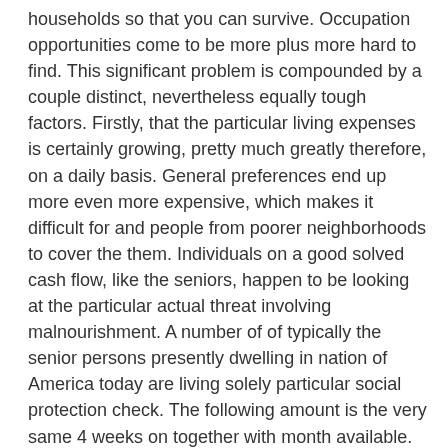households so that you can survive. Occupation opportunities come to be more plus more hard to find. This significant problem is compounded by a couple distinct, nevertheless equally tough factors. Firstly, that the particular living expenses is certainly growing, pretty much greatly therefore, on a daily basis. General preferences end up more even more expensive, which makes it difficult for and people from poorer neighborhoods to cover the them. Individuals on a good solved cash flow, like the seniors, happen to be looking at the particular actual threat involving malnourishment. A number of of typically the senior persons presently dwelling in nation of America today are living solely particular social protection check. The following amount is the very same 4 weeks on together with month available. Hence, in case the charges connected with fundamental items, this type of as foodstuff, gas, and the like, continue to be able to rise in order to have a great deal more plus more for a problem as time period goes by just. The second issue that will has to impact towards destabilize a great by now unreliable market is the decline inside general salary for the Usa